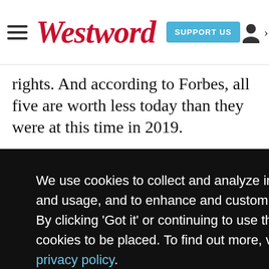Westword | SUPPORT US
rights. And according to Forbes, all five are worth less today than they were at this time in 2019.
We use cookies to collect and analyze information on site performance and usage, and to enhance and customize content and advertisements. By clicking 'Got it' or continuing to use the site, you agree to allow cookies to be placed. To find out more, visit our cookies policy and our privacy policy.
Got it!
Me worth
oster oil
osite
the top to delete on Monday, September 14...